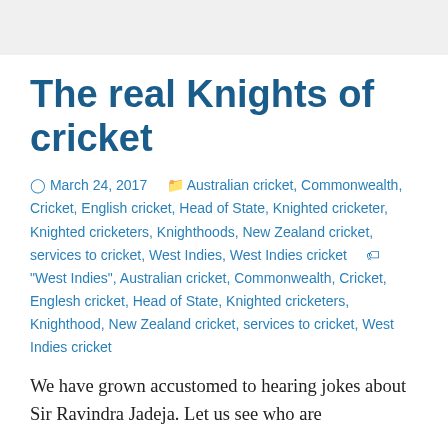The real Knights of cricket
⊙ March 24, 2017   🗀 Australian cricket, Commonwealth, Cricket, English cricket, Head of State, Knighted cricketer, Knighted cricketers, Knighthoods, New Zealand cricket, services to cricket, West Indies, West Indies cricket   🏷 "West Indies", Australian cricket, Commonwealth, Cricket, Englesh cricket, Head of State, Knighted cricketers, Knighthood, New Zealand cricket, services to cricket, West Indies cricket
We have grown accustomed to hearing jokes about Sir Ravindra Jadeja. Let us see who are